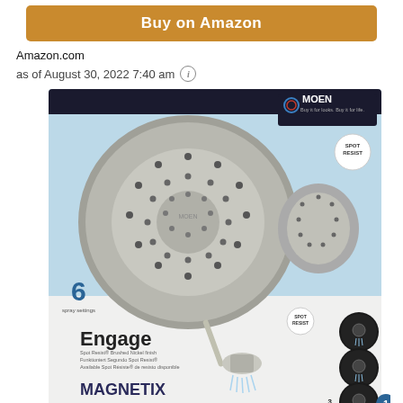[Figure (other): Orange 'Buy on Amazon' button]
Amazon.com
as of August 30, 2022 7:40 am ⓘ
[Figure (photo): Product photo of Moen Engage Magnetix shower head combo in retail packaging. The package shows a large brushed nickel shower head with multiple spray nozzles, the Moen logo with 'Buy it for looks. Buy it for life.' tagline, a SPOT RESIST badge, '6' spray settings indicator, and the lower portion shows the Engage Magnetix handheld shower combo with 3 showers in 1 feature and circular product detail images on the right.]